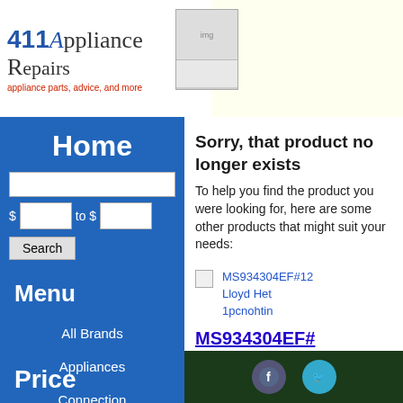[Figure (logo): 411 Appliance Repairs logo with tagline 'appliance parts, advice, and more' and an image of appliances]
Home
$ to $  Search
Menu
All Brands
Appliances
Connection
Price
Sorry, that product no longer exists
To help you find the product you were looking for, here are some other products that might suit your needs:
MS934304EF#12 Lloyd Het 1pcnohtin
MS934304EF#12 Lloyd Het 1pcnohtin - To